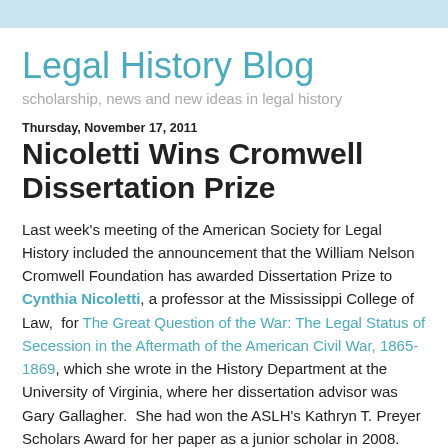Legal History Blog
scholarship, news and new ideas in legal history
Thursday, November 17, 2011
Nicoletti Wins Cromwell Dissertation Prize
Last week's meeting of the American Society for Legal History included the announcement that the William Nelson Cromwell Foundation has awarded Dissertation Prize to Cynthia Nicoletti, a professor at the Mississippi College of Law,  for The Great Question of the War: The Legal Status of Secession in the Aftermath of the American Civil War, 1865-1869, which she wrote in the History Department at the University of Virginia, where her dissertation advisor was Gary Gallagher.  She had won the ASLH's Kathryn T. Preyer Scholars Award for her paper as a junior scholar in 2008.